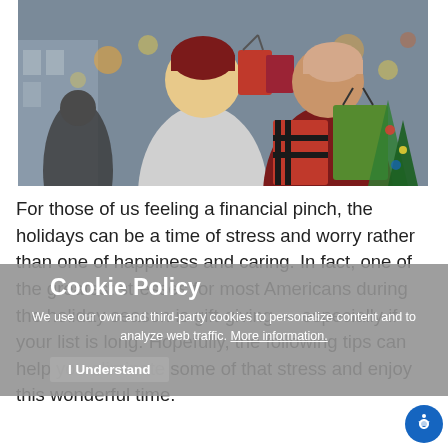[Figure (photo): Two women smiling and holding shopping bags outdoors in a winter holiday market setting, wearing winter hats and scarves]
For those of us feeling a financial pinch, the holidays can be a time of stress and worry rather than one of happiness and caring. In fact, one of the greatest stresses for most Americans during the holiday season is gift-giving — especially if your list is long. Hopefully, the following tips can help you eliminate some of that stress and enjoy this wonderful time.
Cookie Policy
We use our own and third-party cookies to personalize content and to analyze web traffic. More information.
I Understand